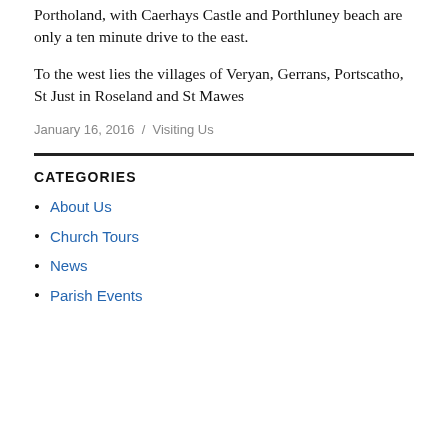Portholand, with Caerhays Castle and Porthluney beach are only a ten minute drive to the east.
To the west lies the villages of Veryan, Gerrans, Portscatho, St Just in Roseland and St Mawes
January 16, 2016 / Visiting Us
CATEGORIES
About Us
Church Tours
News
Parish Events